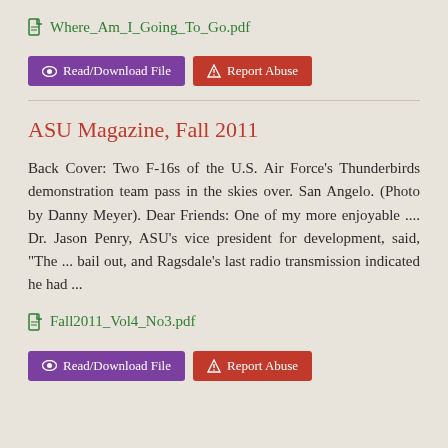Where_Am_I_Going_To_Go.pdf
[Figure (screenshot): Read/Download File button (purple) and Report Abuse button (red)]
ASU Magazine, Fall 2011
Back Cover: Two F-16s of the U.S. Air Force's Thunderbirds demonstration team pass in the skies over. San Angelo. (Photo by Danny Meyer). Dear Friends: One of my more enjoyable .... Dr. Jason Penry, ASU's vice president for development, said, "The ... bail out, and Ragsdale's last radio transmission indicated he had ...
Fall2011_Vol4_No3.pdf
[Figure (screenshot): Read/Download File button (purple) and Report Abuse button (red)]